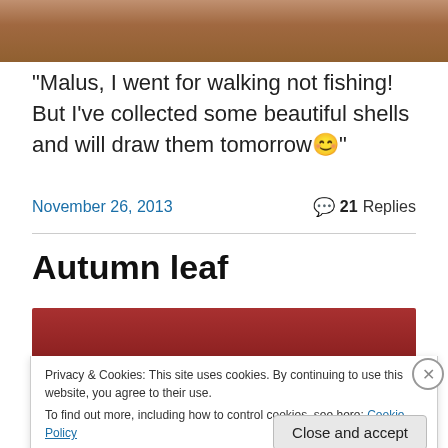[Figure (photo): Cropped top portion of a photo showing hair/fur of a person or animal, warm brown tones]
“Malus, I went for walking not fishing! But I’ve collected some beautiful shells and will draw them tomorrow 😊”
November 26, 2013
21 Replies
Autumn leaf
[Figure (photo): Top edge of a reddish-brown autumn leaf image]
Privacy & Cookies: This site uses cookies. By continuing to use this website, you agree to their use.
To find out more, including how to control cookies, see here: Cookie Policy
Close and accept